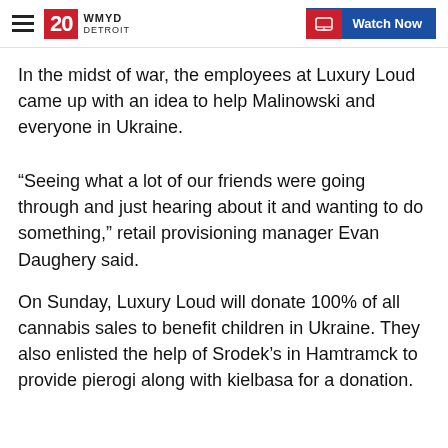20 WMYD DETROIT | Watch Now
In the midst of war, the employees at Luxury Loud came up with an idea to help Malinowski and everyone in Ukraine.
“Seeing what a lot of our friends were going through and just hearing about it and wanting to do something,” retail provisioning manager Evan Daughery said.
On Sunday, Luxury Loud will donate 100% of all cannabis sales to benefit children in Ukraine. They also enlisted the help of Srodek’s in Hamtramck to provide pierogi along with kielbasa for a donation.